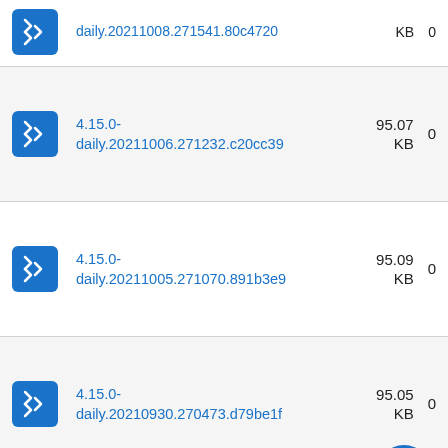daily.20211008.271541.80c4720  KB  0  G
4.15.0-daily.20211006.271232.c20cc39  95.07 KB  0  G
4.15.0-daily.20211005.271070.891b3e9  95.09 KB  T  0  G
4.15.0-daily.20210930.270473.d79be1f  95.05 KB  T  S  0  G